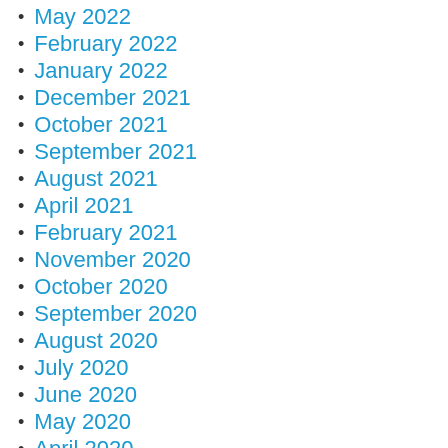May 2022
February 2022
January 2022
December 2021
October 2021
September 2021
August 2021
April 2021
February 2021
November 2020
October 2020
September 2020
August 2020
July 2020
June 2020
May 2020
April 2020